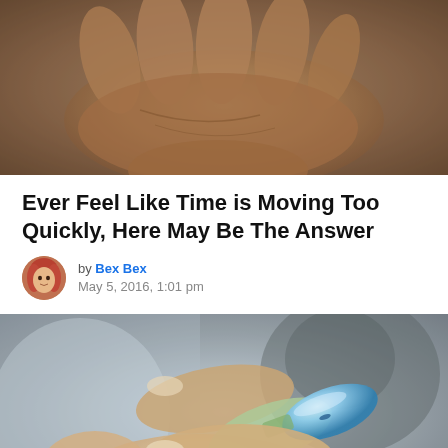[Figure (photo): Close-up of an open human hand/palm, sepia-toned, against a brown textured background]
Ever Feel Like Time is Moving Too Quickly, Here May Be The Answer
by Bex Bex
May 5, 2016, 1:01 pm
[Figure (photo): Close-up of a person's hand holding a small blue capsule/pill, with a blurred face in the background]